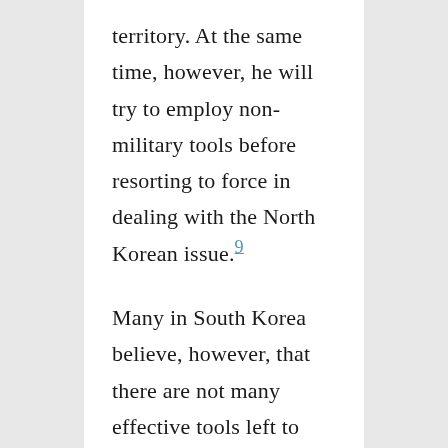territory. At the same time, however, he will try to employ non-military tools before resorting to force in dealing with the North Korean issue.9
Many in South Korea believe, however, that there are not many effective tools left to coerce Pyongyang to abandon nuclear weapons. Though the United States is